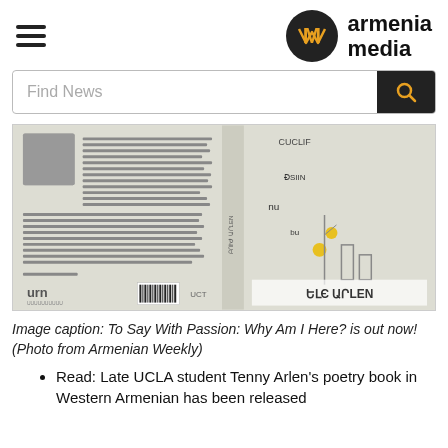armenia media
Find News
[Figure (photo): Book cover of 'To Say With Passion: Why Am I Here?' by Tenny Arlen, showing Armenian text and a stylized flower design on a light background.]
Image caption: To Say With Passion: Why Am I Here? is out now! (Photo from Armenian Weekly)
Read: Late UCLA student Tenny Arlen's poetry book in Western Armenian has been released